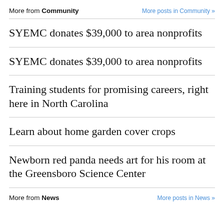More from Community
More posts in Community »
SYEMC donates $39,000 to area nonprofits
SYEMC donates $39,000 to area nonprofits
Training students for promising careers, right here in North Carolina
Learn about home garden cover crops
Newborn red panda needs art for his room at the Greensboro Science Center
More from News
More posts in News »